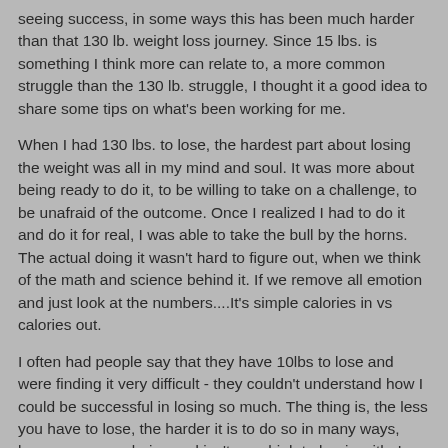seeing success, in some ways this has been much harder than that 130 lb. weight loss journey. Since 15 lbs. is something I think more can relate to, a more common struggle than the 130 lb. struggle, I thought it a good idea to share some tips on what's been working for me.
When I had 130 lbs. to lose, the hardest part about losing the weight was all in my mind and soul. It was more about being ready to do it, to be willing to take on a challenge, to be unafraid of the outcome. Once I realized I had to do it and do it for real, I was able to take the bull by the horns. The actual doing it wasn't hard to figure out, when we think of the math and science behind it. If we remove all emotion and just look at the numbers....It's simple calories in vs calories out.
I often had people say that they have 10lbs to lose and were finding it very difficult - they couldn't understand how I could be successful in losing so much. The thing is, the less you have to lose, the harder it is to do so in many ways, because your caloric need isn't very high to begin with. I had lots of calories to work with so I didn't have to work as hard to trim down. I had an advantage over the average person looking to lose the 10lbs. Let me illustrate it further.